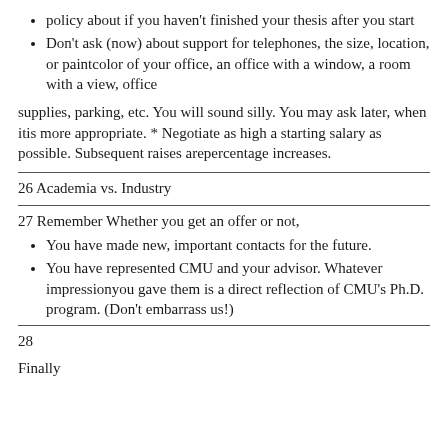policy about if you haven't finished your thesis after you start
Don't ask (now) about support for telephones, the size, location, or paintcolor of your office, an office with a window, a room with a view, office
supplies, parking, etc. You will sound silly. You may ask later, when itis more appropriate. * Negotiate as high a starting salary as possible. Subsequent raises arepercentage increases.
26 Academia vs. Industry
27 Remember Whether you get an offer or not,
You have made new, important contacts for the future.
You have represented CMU and your advisor. Whatever impressionyou gave them is a direct reflection of CMU's Ph.D. program. (Don't embarrass us!)
28
Finally